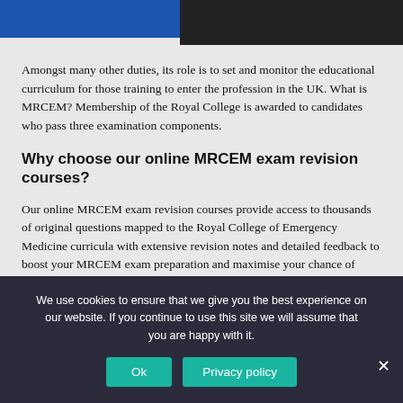Amongst many other duties, its role is to set and monitor the educational curriculum for those training to enter the profession in the UK. What is MRCEM? Membership of the Royal College is awarded to candidates who pass three examination components.
Why choose our online MRCEM exam revision courses?
Our online MRCEM exam revision courses provide access to thousands of original questions mapped to the Royal College of Emergency Medicine curricula with extensive revision notes and detailed feedback to boost your MRCEM exam preparation and maximise your chance of success.
We use cookies to ensure that we give you the best experience on our website. If you continue to use this site we will assume that you are happy with it.